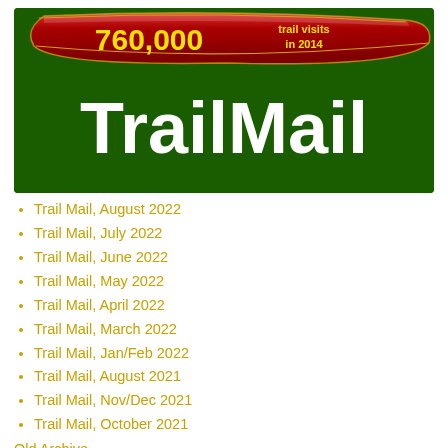[Figure (logo): Dark green banner with a red ribbon showing '760,000 trail visits in 2014' and large white text 'TrailMail']
Trail Mail, August 2022
Trail Mail, July 2022
Trail Mail, June 2022
Trail Mail, May 2022
Trail Mail, April 2022
Trail Mail, March 2022
Trail Mail, Jan/Feb 2022
Trail Mail, August 2021
Trail Mail, Nov/Dec 2021
Trail Mail, October 2021
Old Archive